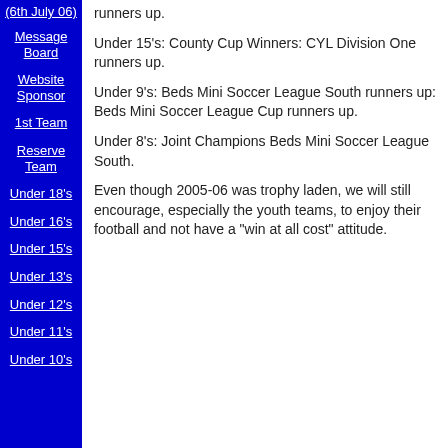(6th July 06)
Message Board
Website Sponsor
1st Team
Reserve Team
Under 18's
Under 16's
Under 15's
Under 13's
Under 12's
Under 11's
Under 10's
Under 15's: County Cup Winners: CYL Division One runners up.
Under 9's: Beds Mini Soccer League South runners up: Beds Mini Soccer League Cup runners up.
Under 8's: Joint Champions Beds Mini Soccer League South.
Even though 2005-06 was trophy laden, we will still encourage, especially the youth teams, to enjoy their football and not have a "win at all cost" attitude.